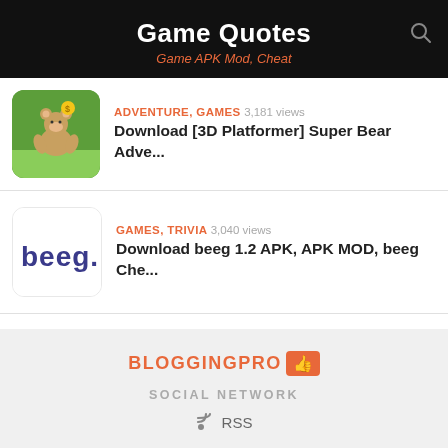Game Quotes — Game APK Mod, Cheat
ADVENTURE, GAMES · 3,181 views · Download [3D Platformer] Super Bear Adve...
GAMES, TRIVIA · 3,040 views · Download beeg 1.2 APK, APK MOD, beeg Che...
CASUAL, GAMES · 2,838 views · Download Gamezop: Play and win cash! APK...
BLOGGINGPRO
SOCIAL NETWORK
RSS